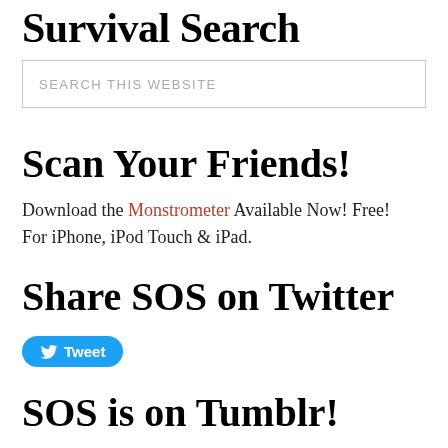Survival Search
SEARCH THIS WEBSITE
Scan Your Friends!
Download the Monstrometer Available Now! Free! For iPhone, iPod Touch & iPad.
Share SOS on Twitter
Tweet
SOS is on Tumblr!